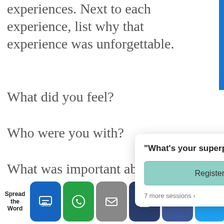Make a list of memorable experiences. Next to each experience, list why that experience was unforgettable.
What did you feel?
Who were you with?
What was important about it?
Review the thread... up?
[Figure (screenshot): Popup widget: '"What's your superpower?" Take the free class' with Register Now / NOW button and '7 more sessions' footer, Powered by eWebinar]
Spread the Word
[Figure (infographic): Social share bar with SMS, WhatsApp, Email, LinkedIn, Facebook, Twitter, and other icons]